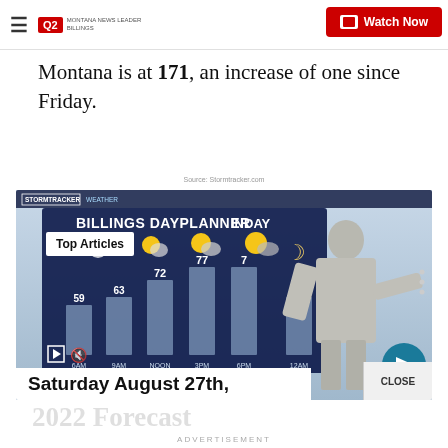Q2 Montana News Leader | Watch Now
Montana is at 171, an increase of one since Friday.
Source: Stormtracker.com
[Figure (screenshot): Weather broadcast screenshot showing Billings Dayplanner with temperatures: 59 at 6AM, 63 at 9AM, 72 at NOON, 77 at 3PM, 77 at 6PM, 63 at 12AM. A meteorologist in a gray suit is pointing at the forecast board. Overlay shows 'Top Articles' white box and 'Saturday August 27th, 2022 Forecast' caption bar at bottom.]
Saturday August 27th,
ADVERTISEMENT